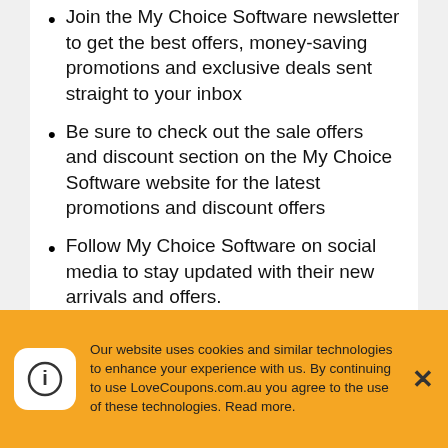Join the My Choice Software newsletter to get the best offers, money-saving promotions and exclusive deals sent straight to your inbox
Be sure to check out the sale offers and discount section on the My Choice Software website for the latest promotions and discount offers
Follow My Choice Software on social media to stay updated with their new arrivals and offers.
Sign up to LoveCoupons.com.au newsletter for our latest weekly offers for brands like My Choice Software and...
Our website uses cookies and similar technologies to enhance your experience with us. By continuing to use LoveCoupons.com.au you agree to the use of these technologies. Read more.